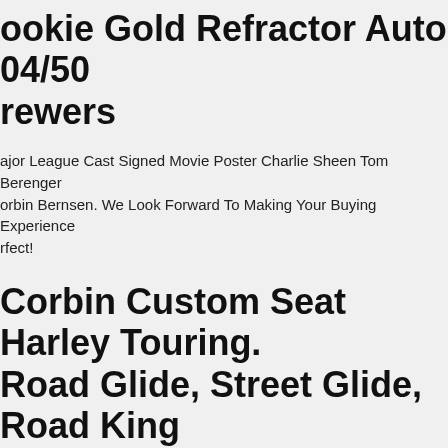Rookie Gold Refractor Auto 04/50 Brewers
Major League Cast Signed Movie Poster Charlie Sheen Tom Berenger Corbin Bernsen. We Look Forward To Making Your Buying Experience Perfect!
Corbin Custom Seat Harley Touring. Road Glide, Street Glide, Road King
This Is A Like New Custom Corbin Seat. Corbin Classic Solo Saddle. Corbin Passenger Pillion.
Corbin Carroll Game Used Bat Diamondbacks Top Prospect. Mlb #3 . Corbin Carroll Game Used Bat Diamondbacks Top Prospect. Mlb #3.